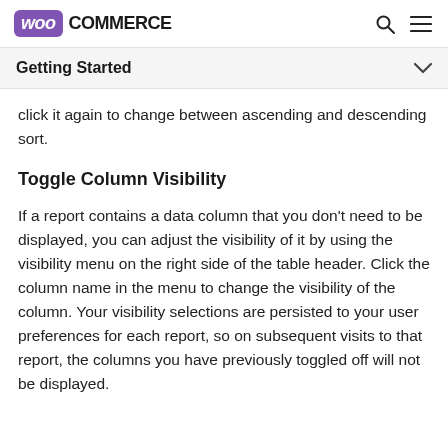WooCommerce
Getting Started
click it again to change between ascending and descending sort.
Toggle Column Visibility
If a report contains a data column that you don’t need to be displayed, you can adjust the visibility of it by using the visibility menu on the right side of the table header. Click the column name in the menu to change the visibility of the column. Your visibility selections are persisted to your user preferences for each report, so on subsequent visits to that report, the columns you have previously toggled off will not be displayed.